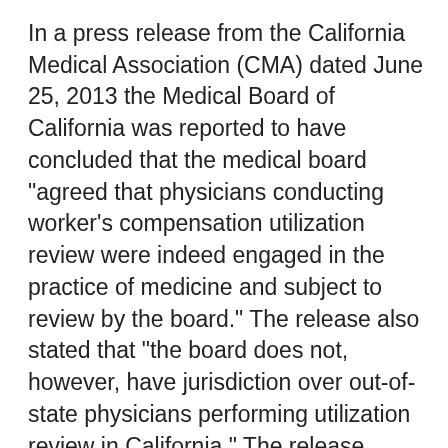In a press release from the California Medical Association (CMA) dated June 25, 2013 the Medical Board of California was reported to have concluded that the medical board "agreed that physicians conducting worker's compensation utilization review were indeed engaged in the practice of medicine and subject to review by the board." The release also stated that "the board does not, however, have jurisdiction over out-of-state physicians performing utilization review in California." The release explains that Governor Brown vetoed AB 584 (Fong) in 2011 "which would have required worker's compensation utilization review physicians to be licensed in California." The release stated that "CMA supported the bill ... to require that all utilization review be done by California-licensed physicians in order to ensure that there is a disciplinary pathway for the medical board in case an injured worker is unduly hurt by a utilization review-based modification or denial of